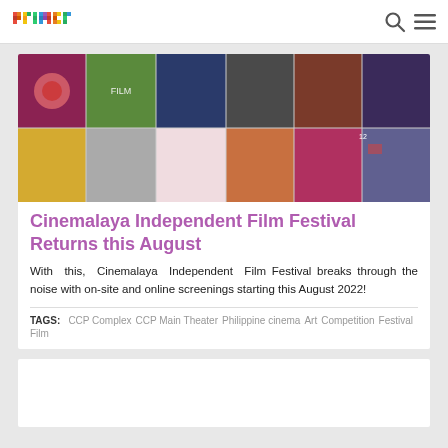primer
[Figure (photo): Grid of film/movie poster thumbnails arranged in 2 rows of 6, showing various colorful movie posters for the Cinemalaya Independent Film Festival]
Cinemalaya Independent Film Festival Returns this August
With this, Cinemalaya Independent Film Festival breaks through the noise with on-site and online screenings starting this August 2022!
TAGS: CCP Complex  CCP Main Theater  Philippine cinema  Art  Competition  Festival  Film